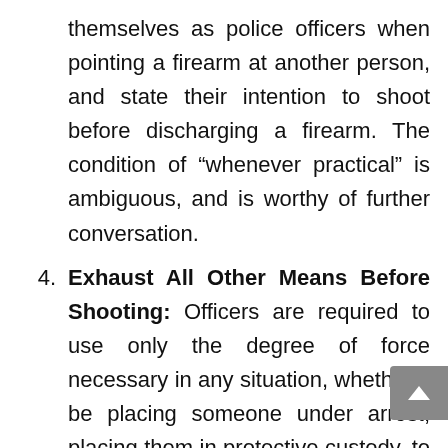themselves as police officers when pointing a firearm at another person, and state their intention to shoot before discharging a firearm. The condition of “whenever practical” is ambiguous, and is worthy of further conversation.
4. Exhaust All Other Means Before Shooting: Officers are required to use only the degree of force necessary in any situation, whether it be placing someone under arrest, placing them in protective custody, to bring an incident under control, or protect the safety of others or themselves. This policy should be updated to require Officers to exhaust all other means before shooting a firearm, to codify this...